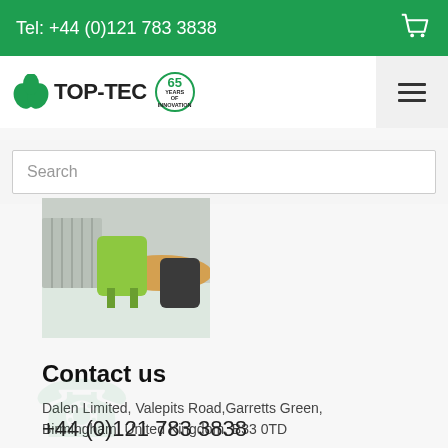Tel: +44 (0)121 783 3838
[Figure (logo): TOP-TEC logo with two green leaves and '65 Years of Innovation' badge]
Search
[Figure (photo): Photo of green chairs and tables in a meeting/dining room setting]
Contact us
Dalen Limited, Valepits Road,Garretts Green, Birmingham, United Kingdom, B33 0TD
+44 (0)121 783 3838